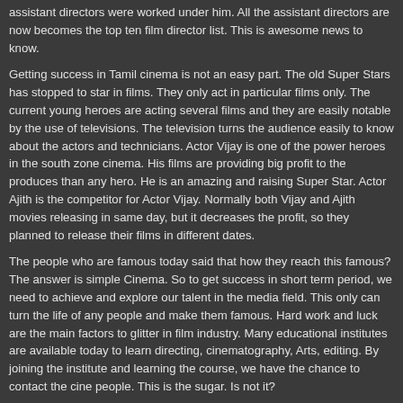assistant directors were worked under him. All the assistant directors are now becomes the top ten film director list. This is awesome news to know.
Getting success in Tamil cinema is not an easy part. The old Super Stars has stopped to star in films. They only act in particular films only. The current young heroes are acting several films and they are easily notable by the use of televisions. The television turns the audience easily to know about the actors and technicians. Actor Vijay is one of the power heroes in the south zone cinema. His films are providing big profit to the produces than any hero. He is an amazing and raising Super Star. Actor Ajith is the competitor for Actor Vijay. Normally both Vijay and Ajith movies releasing in same day, but it decreases the profit, so they planned to release their films in different dates.
The people who are famous today said that how they reach this famous? The answer is simple Cinema. So to get success in short term period, we need to achieve and explore our talent in the media field. This only can turn the life of any people and make them famous. Hard work and luck are the main factors to glitter in film industry. Many educational institutes are available today to learn directing, cinematography, Arts, editing. By joining the institute and learning the course, we have the chance to contact the cine people. This is the sugar. Is not it?
Posted in Movie & Cinemax